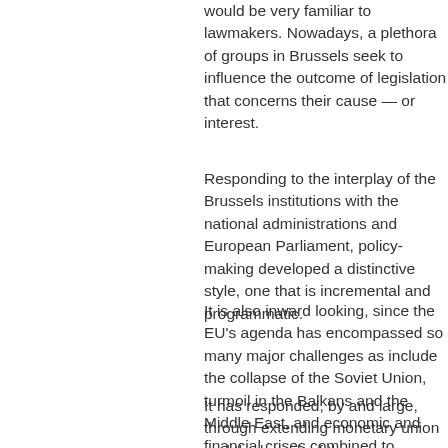would be very familiar to lawmakers. Nowadays, a plethora of groups in Brussels seek to influence the outcome of legislation that concerns their cause — or interest.
Responding to the interplay of the Brussels institutions with the national administrations and European Parliament, policy-making developed a distinctive style, one that is incremental and programmatic.
It is also inward looking, since the EU's agenda has encompassed so many major challenges as include the collapse of the Soviet Union, turmoil in the Balkans and the Middle East, and economic and financial crises combined to present Europe with unprecedented challenges.
It has responded, by and large, through extending monetary union and the launch of the euro, extending cooperation in criminal justice and immigration, and tighter coordination of foreign policy on a range of issues.